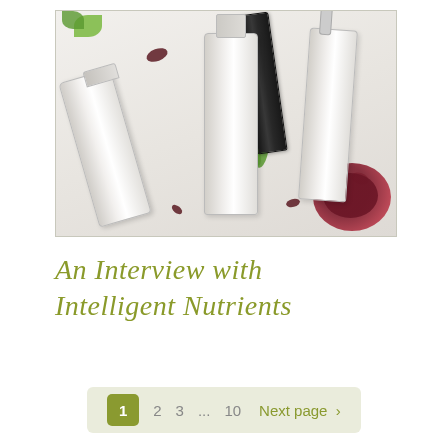[Figure (photo): Flatlay photograph of Intelligent Nutrients skincare product bottles (white/cream packaging) arranged on a white marble surface with scattered dark rose petals, fresh green herb leaves, and a bowl of dark red powder in the bottom right corner.]
An Interview with Intelligent Nutrients
1  2  3  ...  10  Next page >